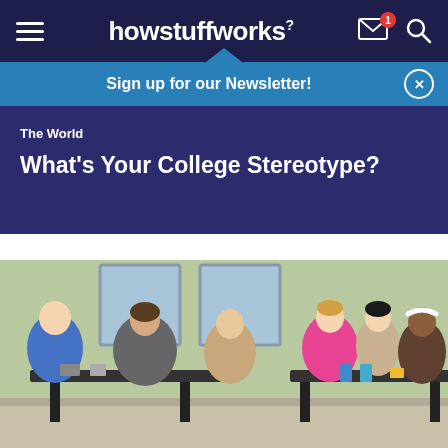howstuffworks
Sign up for our Newsletter!
The World
What's Your College Stereotype?
[Figure (photo): Students sitting at tables in a school cafeteria or classroom, engaged in group activities. Multiple students of different ethnicities are visible, some wearing colorful clothing.]